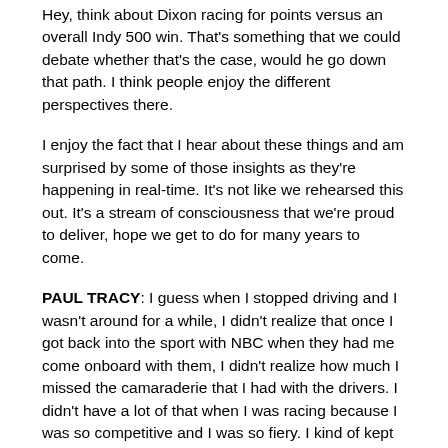Hey, think about Dixon racing for points versus an overall Indy 500 win. That's something that we could debate whether that's the case, would he go down that path. I think people enjoy the different perspectives there.
I enjoy the fact that I hear about these things and am surprised by some of those insights as they're happening in real-time. It's not like we rehearsed this out. It's a stream of consciousness that we're proud to deliver, hope we get to do for many years to come.
PAUL TRACY: I guess when I stopped driving and I wasn't around for a while, I didn't realize that once I got back into the sport with NBC when they had me come onboard with them, I didn't realize how much I missed the camaraderie that I had with the drivers. I didn't have a lot of that when I was racing because I was so competitive and I was so fiery. I kind of kept guys as an enemy.
But as I've grown into this broadcasting role, I've become very good friends with a lot of the drivers. They'll express to me a side of things that they typically wouldn't say to a journalist or a pit reporter, will talk about things. They let me on the inside of things. Some things I can't say on air and some things they're okay…